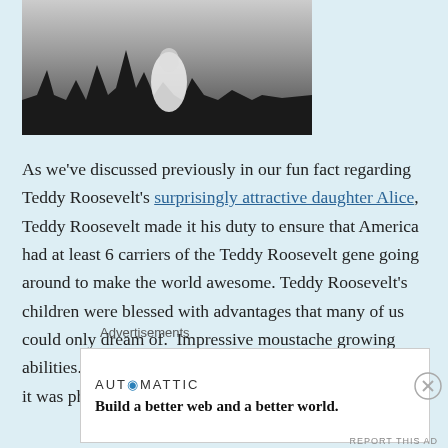[Figure (photo): Black and white historical photograph showing a group of people, silhouettes visible at the bottom, appears to be a family or group portrait outdoors.]
As we've discussed previously in our fun fact regarding Teddy Roosevelt's surprisingly attractive daughter Alice, Teddy Roosevelt made it his duty to ensure that America had at least 6 carriers of the Teddy Roosevelt gene going around to make the world awesome. Teddy Roosevelt's children were blessed with advantages that many of us could only dream of.  Impressive moustache growing abilities.  The strength of five men.  The knowledge that it was physically impossible
Advertisements
[Figure (screenshot): Advertisement banner. AUTOMATTIC logo with text: Build a better web and a better world.]